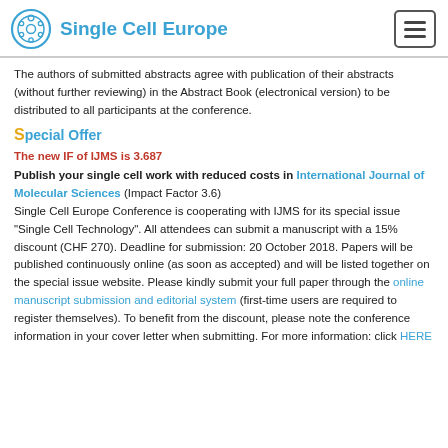Single Cell Europe
The authors of submitted abstracts agree with publication of their abstracts (without further reviewing) in the Abstract Book (electronical version) to be distributed to all participants at the conference.
Special Offer
The new IF of IJMS is 3.687
Publish your single cell work with reduced costs in International Journal of Molecular Sciences (Impact Factor 3.6)
Single Cell Europe Conference is cooperating with IJMS for its special issue "Single Cell Technology". All attendees can submit a manuscript with a 15% discount (CHF 270). Deadline for submission: 20 October 2018. Papers will be published continuously online (as soon as accepted) and will be listed together on the special issue website. Please kindly submit your full paper through the online manuscript submission and editorial system (first-time users are required to register themselves). To benefit from the discount, please note the conference information in your cover letter when submitting. For more information: click HERE